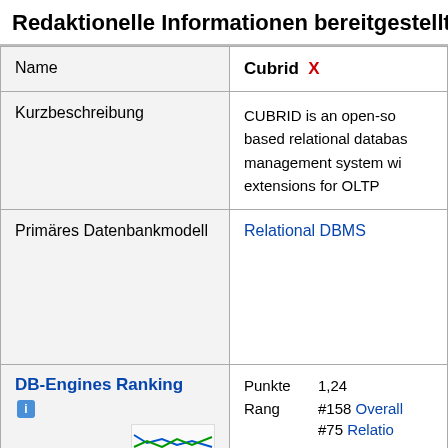Redaktionelle Informationen bereitgestellt
| Name | Kurzbeschreibung | Primäres Datenbankmodell | DB-Engines Ranking |
| --- | --- | --- | --- |
| Name | Cubrid X |
| Kurzbeschreibung | CUBRID is an open-so... based relational databas... management system wi... extensions for OLTP |
| Primäres Datenbankmodell | Relational DBMS |
| DB-Engines Ranking | Punkte 1,24 | Rang #158 Overall | #75 Relatio... |